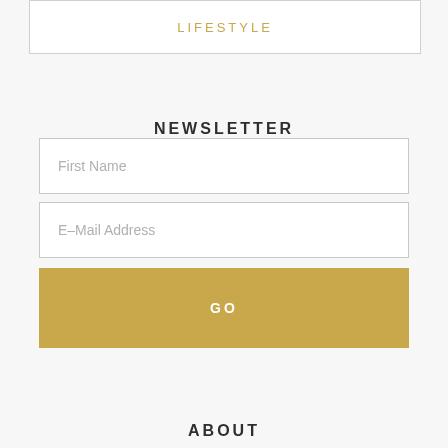LIFESTYLE
NEWSLETTER
First Name
E-Mail Address
GO
ABOUT